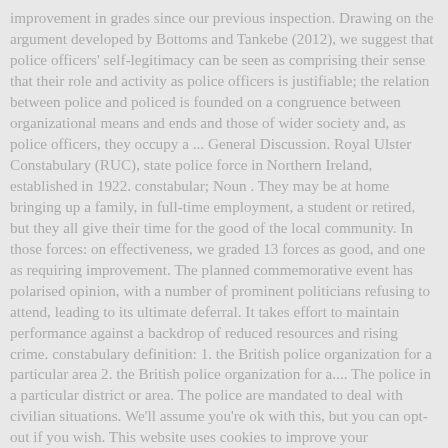improvement in grades since our previous inspection. Drawing on the argument developed by Bottoms and Tankebe (2012), we suggest that police officers' self-legitimacy can be seen as comprising their sense that their role and activity as police officers is justifiable; the relation between police and policed is founded on a congruence between organizational means and ends and those of wider society and, as police officers, they occupy a ... General Discussion. Royal Ulster Constabulary (RUC), state police force in Northern Ireland, established in 1922. constabular; Noun . They may be at home bringing up a family, in full-time employment, a student or retired, but they all give their time for the good of the local community. In those forces: on effectiveness, we graded 13 forces as good, and one as requiring improvement. The planned commemorative event has polarised opinion, with a number of prominent politicians refusing to attend, leading to its ultimate deferral. It takes effort to maintain performance against a backdrop of reduced resources and rising crime. constabulary definition: 1. the British police organization for a particular area 2. the British police organization for a.... The police in a particular district or area. The police are mandated to deal with civilian situations. We'll assume you're ok with this, but you can opt-out if you wish. This website uses cookies to improve your experience. In this